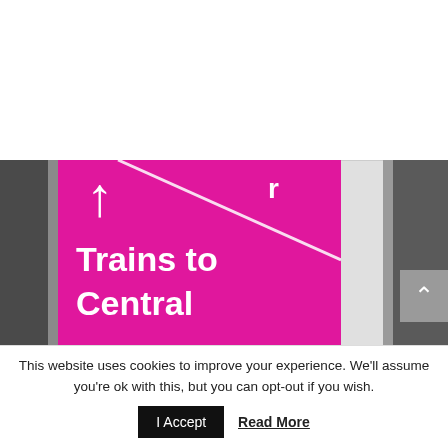[Figure (photo): A bright pink train station directional sign with a white upward-pointing arrow and white text reading 'Trains to Central', mounted in a metal frame with a diagonal white stripe at the top right. The sign appears to be photographed at a train station. A scroll-to-top button (gray square with white chevron) is visible at the right edge.]
This website uses cookies to improve your experience. We'll assume you're ok with this, but you can opt-out if you wish.
I Accept
Read More